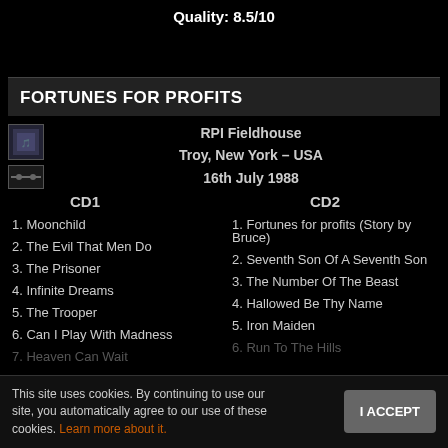Quality: 8.5/10
FORTUNES FOR PROFITS
RPI Fieldhouse
Troy, New York – USA
16th July 1988
CD1
CD2
1. Moonchild
2. The Evil That Men Do
3. The Prisoner
4. Infinite Dreams
5. The Trooper
6. Can I Play With Madness
7. Heaven Can Wait
1. Fortunes for profits (Story by Bruce)
2. Seventh Son Of A Seventh Son
3. The Number Of The Beast
4. Hallowed Be Thy Name
5. Iron Maiden
6. Run To The Hills
This site uses cookies. By continuing to use our site, you automatically agree to our use of these cookies. Learn more about it.
I ACCEPT